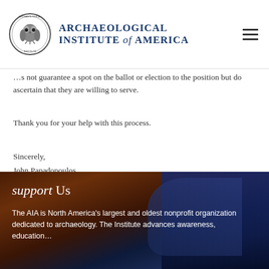Archaeological Institute of America
…s not guarantee a spot on the ballot or election to the position but do ascertain that they are willing to serve.
Thank you for your help with this process.
Sincerely,
John Papadopoulos
Chair, AIA Nominating Committee
jkp@humnet.ucla.edu
[Figure (photo): Footer banner with archaeological site photo background (dark reddish-brown and blue tones) showing rocky canyon/ruins at twilight]
support Us
The AIA is North America's largest and oldest nonprofit organization dedicated to archaeology. The Institute advances awareness, education…